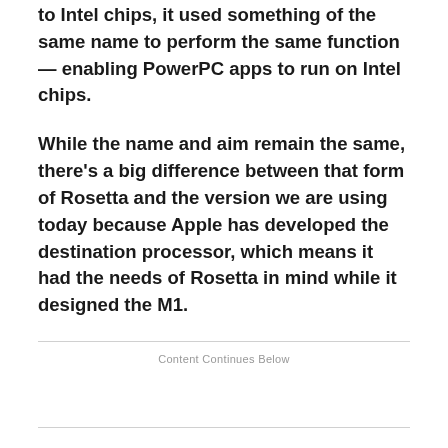to Intel chips, it used something of the same name to perform the same function — enabling PowerPC apps to run on Intel chips.
While the name and aim remain the same, there's a big difference between that form of Rosetta and the version we are using today because Apple has developed the destination processor, which means it had the needs of Rosetta in mind while it designed the M1.
Content Continues Below
That means it has been able to build some of the